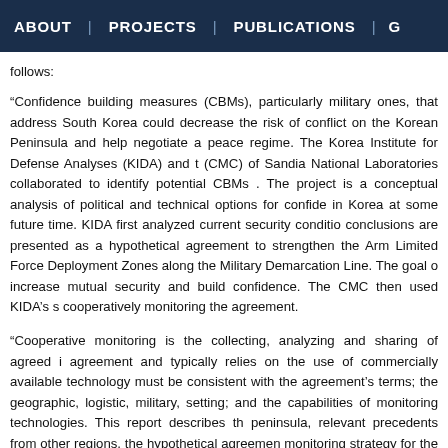ABOUT | PROJECTS | PUBLICATIONS | G
follows:
“Confidence building measures (CBMs), particularly military ones, that address South Korea could decrease the risk of conflict on the Korean Peninsula and help negotiate a peace regime. The Korea Institute for Defense Analyses (KIDA) and t (CMC) of Sandia National Laboratories collaborated to identify potential CBMs . The project is a conceptual analysis of political and technical options for confide in Korea at some future time. KIDA first analyzed current security conditio conclusions are presented as a hypothetical agreement to strengthen the Arm Limited Force Deployment Zones along the Military Demarcation Line. The goal o increase mutual security and build confidence. The CMC then used KIDA’s s cooperatively monitoring the agreement.
“Cooperative monitoring is the collecting, analyzing and sharing of agreed i agreement and typically relies on the use of commercially available technology must be consistent with the agreement’s terms; the geographic, logistic, military, setting; and the capabilities of monitoring technologies. This report describes th peninsula, relevant precedents from other regions, the hypothetical agreemen monitoring strategy for the hypothetical Korean agreement, examples of imp applicable monitoring technologies and procedures.”